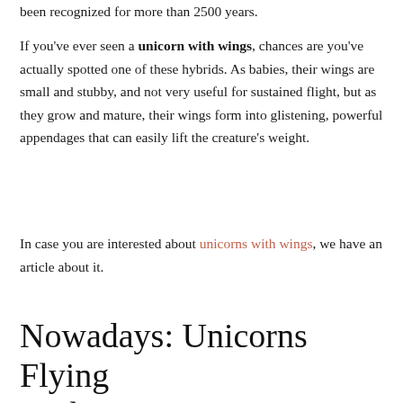been recognized for more than 2500 years.
If you've ever seen a unicorn with wings, chances are you've actually spotted one of these hybrids. As babies, their wings are small and stubby, and not very useful for sustained flight, but as they grow and mature, their wings form into glistening, powerful appendages that can easily lift the creature's weight.
In case you are interested about unicorns with wings, we have an article about it.
Nowadays: Unicorns Flying Without Wings